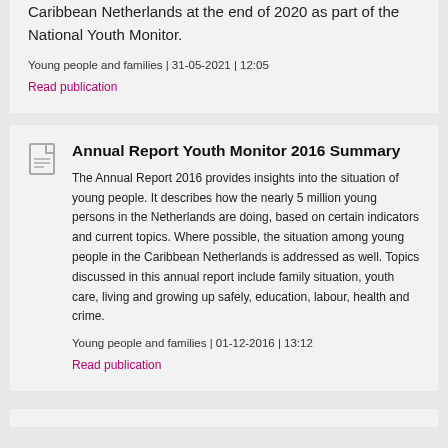Caribbean Netherlands at the end of 2020 as part of the National Youth Monitor.
Young people and families | 31-05-2021 | 12:05
Read publication
Annual Report Youth Monitor 2016 Summary
The Annual Report 2016 provides insights into the situation of young people. It describes how the nearly 5 million young persons in the Netherlands are doing, based on certain indicators and current topics. Where possible, the situation among young people in the Caribbean Netherlands is addressed as well. Topics discussed in this annual report include family situation, youth care, living and growing up safely, education, labour, health and crime.
Young people and families | 01-12-2016 | 13:12
Read publication